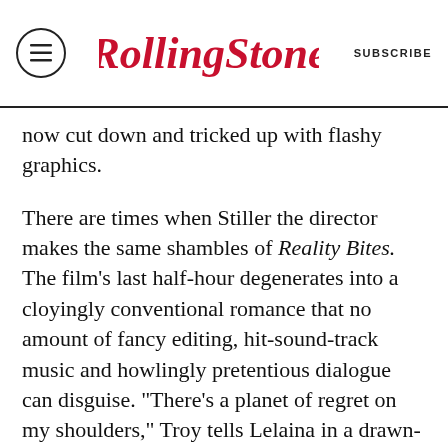Rolling Stone | SUBSCRIBE
now cut down and tricked up with flashy graphics.
There are times when Stiller the director makes the same shambles of Reality Bites. The film's last half-hour degenerates into a cloyingly conventional romance that no amount of fancy editing, hit-sound-track music and howlingly pretentious dialogue can disguise. “There’s a planet of regret on my shoulders,” Troy tells Lelaina in a drawn-out reconciliation scene that stops the movie and Hawke’s performance cold. At these moments, Reality Bites is guilty of the very things it’s criticizing.
But mostly the film shows a keen understanding of the anxiety that lies beneath the banter. It’s both hilarious and horrific to watch Lelaina face